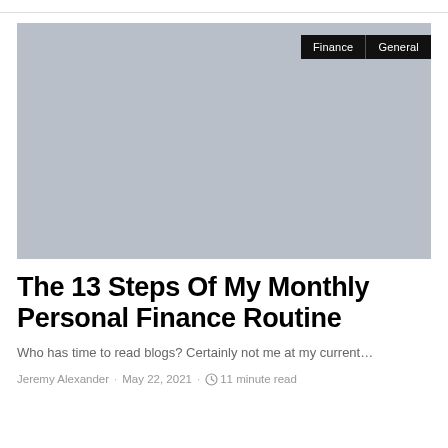[Figure (photo): Light grey placeholder image with Finance and General category tags in the upper right corner]
The 13 Steps Of My Monthly Personal Finance Routine
Who has time to read blogs? Certainly not me at my current…
Jeremy Alexander · May 22, 2021 · 11 minute read